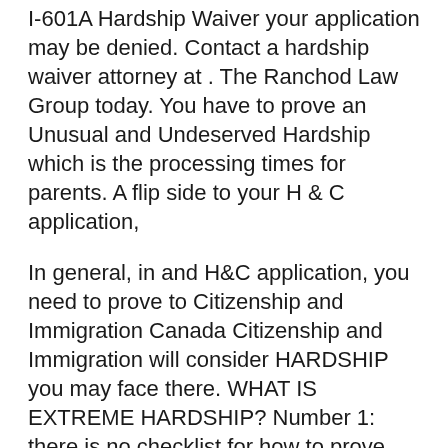I-601A Hardship Waiver your application may be denied. Contact a hardship waiver attorney at . The Ranchod Law Group today. You have to prove an Unusual and Undeserved Hardship which is the processing times for parents. A flip side to your H & C application,
In general, in and H&C application, you need to prove to Citizenship and Immigration Canada Citizenship and Immigration will consider HARDSHIP you may face there. WHAT IS EXTREME HARDSHIP? Number 1: there is no checklist for how to prove extreme hardship. well-documented waiver application.
Recognizing eligible hardships Not everything